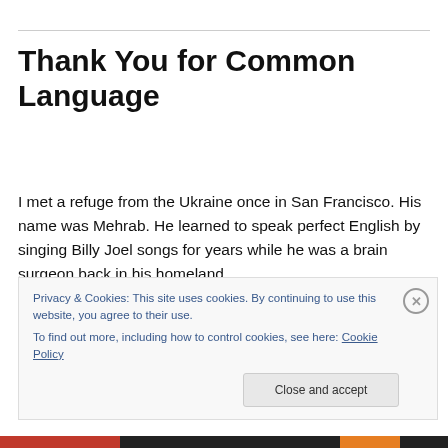Thank You for Common Language
I met a refuge from the Ukraine once in San Francisco. His name was Mehrab. He learned to speak perfect English by singing Billy Joel songs for years while he was a brain surgeon back in his homeland.
Here, in the land of opportunity, he worked as a security
Privacy & Cookies: This site uses cookies. By continuing to use this website, you agree to their use.
To find out more, including how to control cookies, see here: Cookie Policy
Close and accept